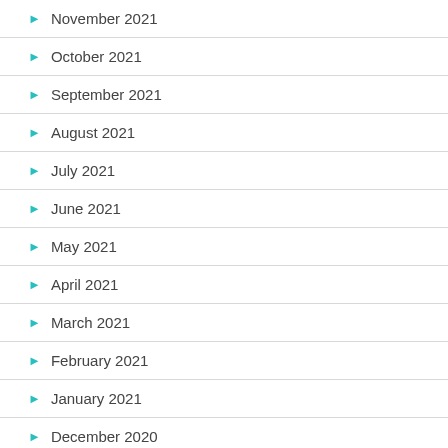November 2021
October 2021
September 2021
August 2021
July 2021
June 2021
May 2021
April 2021
March 2021
February 2021
January 2021
December 2020
November 2020
October 2020